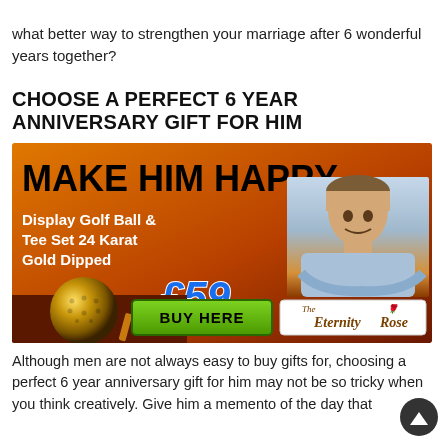what better way to strengthen your marriage after 6 wonderful years together?
CHOOSE A PERFECT 6 YEAR ANNIVERSARY GIFT FOR HIM
[Figure (infographic): Orange-gradient advertisement banner reading MAKE HIM HAPPY with product text Display Golf Ball & Tee Set 24 Karat Gold Dipped, price £59, a gold golf ball image, a smiling man with arms crossed, a green BUY HERE button, and The Eternity Rose logo.]
Although men are not always easy to buy gifts for, choosing a perfect 6 year anniversary gift for him may not be so tricky when you think creatively. Give him a memento of the day that